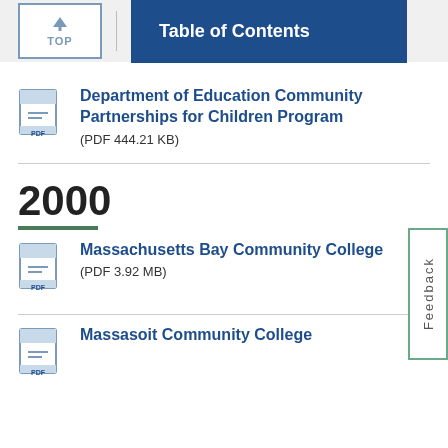TOP | Table of Contents
Department of Education Community Partnerships for Children Program (PDF 444.21 KB)
2000
Massachusetts Bay Community College (PDF 3.92 MB)
Massasoit Community College